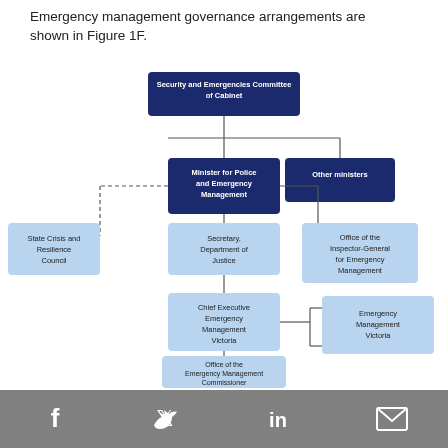Emergency management governance arrangements are shown in Figure 1F.
[Figure (organizational-chart): Organizational chart showing emergency management governance arrangements. Top node: Security and Emergencies Committee of Cabinet (dark blue). Below it branches to: Minister for Police and Emergency Management (dark blue, center) and Other ministers (dark blue, right). From Minister node: dashed line to State Crisis and Resilience Council (light blue, left); solid line to Secretary, Department of Justice (light blue, center); solid line to Office of the Inspector-General for Emergency Management (light blue, right). From Secretary node: Chief Executive Emergency Management Victoria (light blue), which connects to Emergency Management Victoria (light blue, right). Below Chief Executive: Office of the Emergency Management Commissioner (light blue).]
Social media icons: Facebook, Twitter, LinkedIn, Email